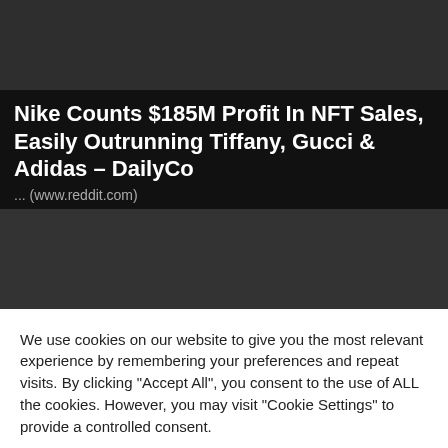[Figure (photo): Dark gray placeholder image at top of page]
Nike Counts $185M Profit In NFT Sales, Easily Outrunning Tiffany, Gucci & Adidas – DailyCo
... (www.reddit.com)
[Figure (photo): Dark gray placeholder image below the title]
We use cookies on our website to give you the most relevant experience by remembering your preferences and repeat visits. By clicking "Accept All", you consent to the use of ALL the cookies. However, you may visit "Cookie Settings" to provide a controlled consent.
Cookie Settings | Accept All